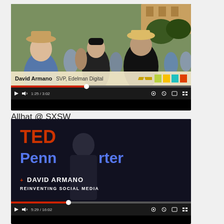[Figure (screenshot): YouTube video player showing David Armano, SVP Edelman Digital, at an outdoor event (Allhat @ SXSW). Video controls show 1:25/3:02.]
Allhat @ SXSW
[Figure (screenshot): YouTube video player showing TEDx PennQuarter talk by David Armano titled 'Reinventing Social Media'. Video controls show 5:29/16:02.]